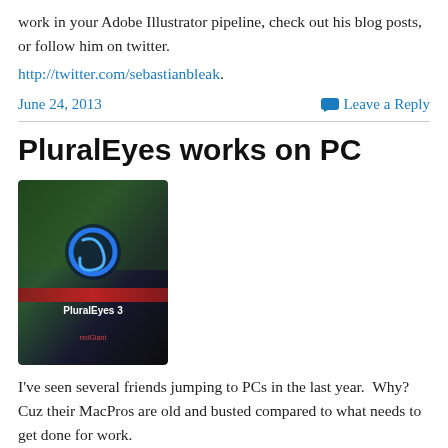work in your Adobe Illustrator pipeline, check out his blog posts, or follow him on twitter. http://twitter.com/sebastianbleak.
June 24, 2013
Leave a Reply
PluralEyes works on PC
[Figure (photo): PluralEyes 3 software box product image with dark background and blue swirl logo]
I've seen several friends jumping to PCs in the last year.  Why? Cuz their MacPros are old and busted compared to what needs to get done for work.